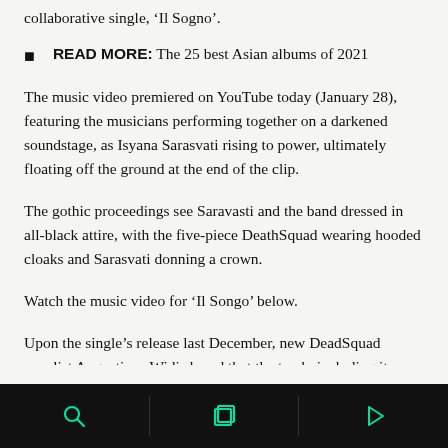collaborative single, 'Il Sogno'.
READ MORE: The 25 best Asian albums of 2021
The music video premiered on YouTube today (January 28), featuring the musicians performing together on a darkened soundstage, as Isyana Sarasvati rising to power, ultimately floating off the ground at the end of the clip.
The gothic proceedings see Saravasti and the band dressed in all-black attire, with the five-piece DeathSquad wearing hooded cloaks and Sarasvati donning a crown.
Watch the music video for ‘Il Songo’ below.
Upon the single’s release last December, new DeadSquad vocalist Augustinus Widi shared that the track, including its